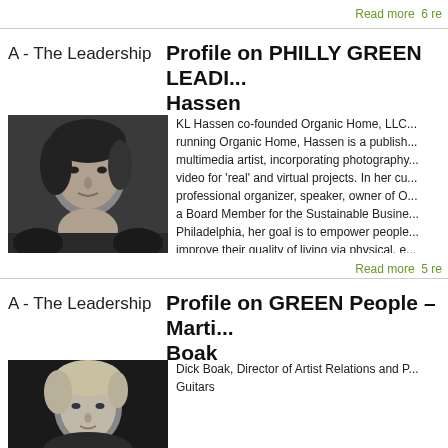Read more  6 re
A - The Leadership
Profile on PHILLY GREEN LEADI... Hassen
[Figure (photo): Black and white portrait photo of KL Hassen, a woman with dark hair looking upward]
KL Hassen co-founded Organic Home, LLC... running Organic Home, Hassen is a publish... multimedia artist, incorporating photography... video for 'real' and virtual projects. In her cu... professional organizer, speaker, owner of O... a Board Member for the Sustainable Busine... Philadelphia, her goal is to empower people... improve their quality of living via physical, e... environmental and emotional sustainability.
Read more  5 re
A - The Leadership
Profile on GREEN People – Marti... Boak
[Figure (photo): Black and white portrait photo of Dick Boak, a man with light hair]
Dick Boak, Director of Artist Relations and P... Guitars